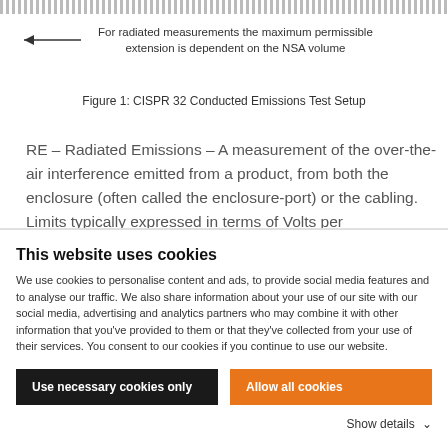[Figure (schematic): Top portion of CISPR 32 Conducted Emissions Test Setup diagram showing a dotted/hatched bar at the top and an arrow pointing left with annotation text.]
Figure 1: CISPR 32 Conducted Emissions Test Setup
RE – Radiated Emissions – A measurement of the over-the-air interference emitted from a product, from both the enclosure (often called the enclosure-port) or the cabling. Limits typically expressed in terms of Volts per
This website uses cookies
We use cookies to personalise content and ads, to provide social media features and to analyse our traffic. We also share information about your use of our site with our social media, advertising and analytics partners who may combine it with other information that you've provided to them or that they've collected from your use of their services. You consent to our cookies if you continue to use our website.
Use necessary cookies only
Allow all cookies
Show details